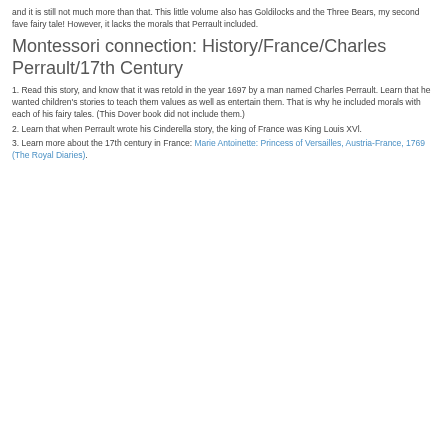and it is still not much more than that. This little volume also has Goldilocks and the Three Bears, my second fave fairy tale! However, it lacks the morals that Perrault included.
Montessori connection: History/France/Charles Perrault/17th Century
1. Read this story, and know that it was retold in the year 1697 by a man named Charles Perrault. Learn that he wanted children's stories to teach them values as well as entertain them. That is why he included morals with each of his fairy tales. (This Dover book did not include them.)
2. Learn that when Perrault wrote his Cinderella story, the king of France was King Louis XVl.
3. Learn more about the 17th century in France: Marie Antoinette: Princess of Versailles, Austria-France, 1769 (The Royal Diaries).